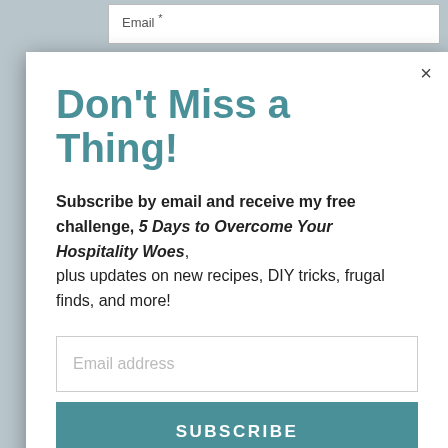Email *
Don't Miss a Thing!
Subscribe by email and receive my free challenge, 5 Days to Overcome Your Hospitality Woes, plus updates on new recipes, DIY tricks, frugal finds, and more!
Email address
SUBSCRIBE